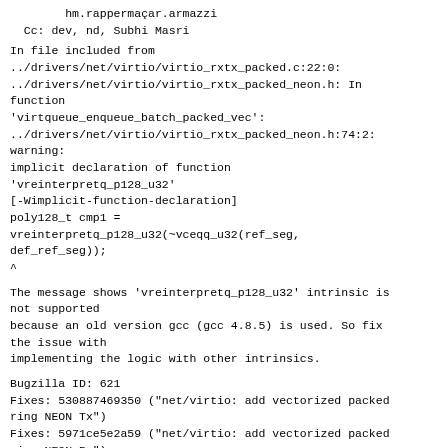hm.rappermaçar.armazzi
  Cc: dev, nd, Subhi Masri
In file included from
../drivers/net/virtio/virtio_rxtx_packed.c:22:0:
../drivers/net/virtio/virtio_rxtx_packed_neon.h: In function
'virtqueue_enqueue_batch_packed_vec':
../drivers/net/virtio/virtio_rxtx_packed_neon.h:74:2:
warning:
implicit declaration of function
'vreinterpretq_p128_u32'
[-Wimplicit-function-declaration]
poly128_t cmp1 =
vreinterpretq_p128_u32(~vceqq_u32(ref_seg,
def_ref_seg));
^
The message shows 'vreinterpretq_p128_u32' intrinsic is
not supported
because an old version gcc (gcc 4.8.5) is used. So fix
the issue with
implementing the logic with other intrinsics.
Bugzilla ID: 621
Fixes: 530887469350 ("net/virtio: add vectorized packed
ring NEON Tx")
Fixes: 5971ce5e2a59 ("net/virtio: add vectorized packed
ring NEON Rx")
Reported-by: Subhi Masri <subbim@nvidia.com>